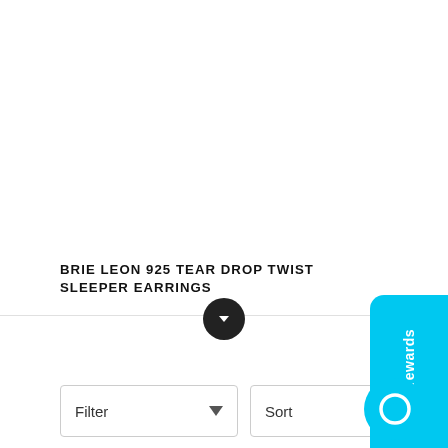[Figure (screenshot): White product image area (empty/loading) taking up the top portion of the page]
[Figure (other): Cyan 'Check rewards' vertical tab on the right side]
BRIE LEON 925 TEAR DROP TWIST SLEEPER EARRINGS
[Figure (other): Dark circular scroll/expand button with downward chevron]
[Figure (other): Filter dropdown box and Sort dropdown box in a row, with cyan chat button on right]